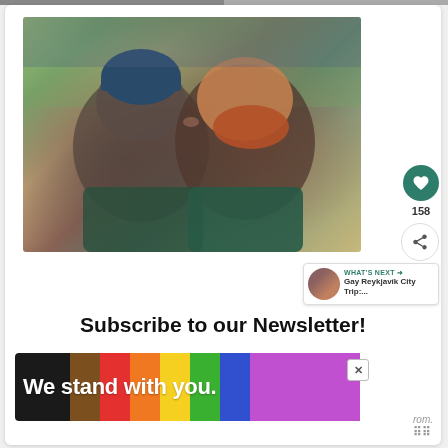[Figure (photo): Two men about to kiss outdoors, one wearing a blue knitted beanie hat, the other with a red beard. They are smiling and close together.]
158
WHAT'S NEXT → Gay Reykjavik City Trip:...
Subscribe to our Newsletter!
[Figure (infographic): Rainbow pride banner with text 'We stand with you.' on multicolored stripes (black, brown, red, orange, yellow, green, blue, purple)]